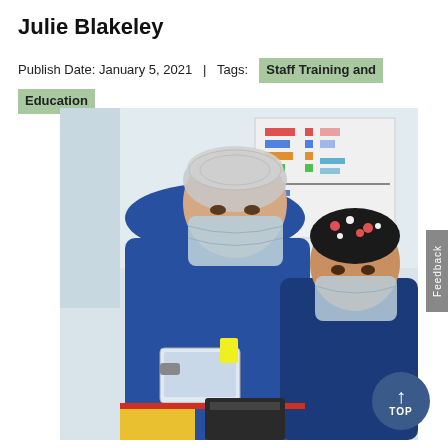Julie Blakeley
Publish Date: January 5, 2021  |  Tags:  Staff Training and Education
[Figure (photo): Two healthcare workers in blue scrubs and face masks examining a medical device or tablet together. One wears a white hairnet and the other wears a floral surgical cap. They appear to be in a hospital or clinical setting with charts visible on the wall behind them.]